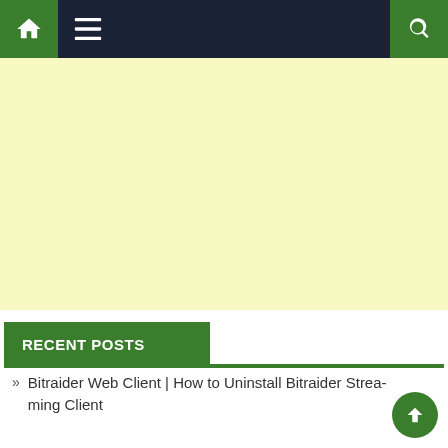[Figure (screenshot): Website navigation bar with green home icon on left, dark navy menu area with hamburger icon, and green search icon on right]
[Figure (other): Advertisement placeholder area with pale yellow background]
RECENT POSTS
Bitraider Web Client | How to Uninstall Bitraider Streaming Client